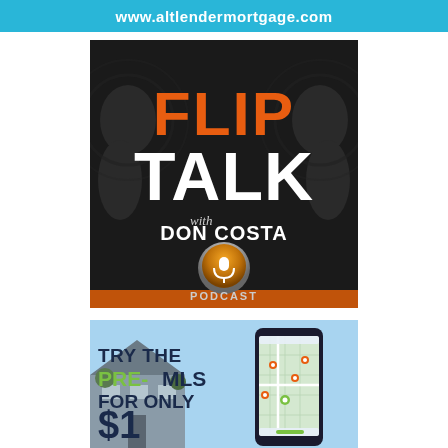www.altlendermortgage.com
[Figure (logo): Flip Talk with Don Costa Podcast logo — dark background with orange 'FLIP' text, white 'TALK' text, and a podcast badge showing a microphone]
[Figure (infographic): Advertisement: Try the PRE-MLS for only $1 — shows text over a house background with a smartphone displaying a map app]